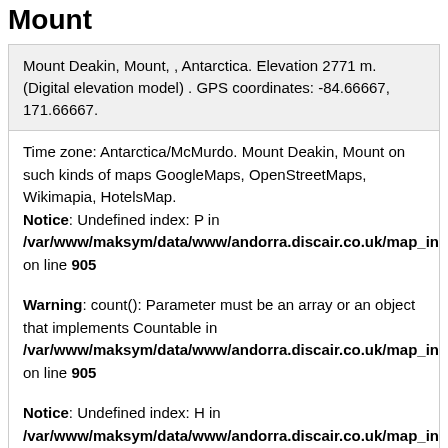Mount
Mount Deakin, Mount, , Antarctica. Elevation 2771 m. (Digital elevation model) . GPS coordinates: -84.66667, 171.66667.
Time zone: Antarctica/McMurdo. Mount Deakin, Mount on such kinds of maps GoogleMaps, OpenStreetMaps, Wikimapia, HotelsMap.
Notice: Undefined index: P in /var/www/maksym/data/www/andorra.discair.co.uk/map_incl.ph on line 905

Warning: count(): Parameter must be an array or an object that implements Countable in /var/www/maksym/data/www/andorra.discair.co.uk/map_incl.ph on line 905

Notice: Undefined index: H in /var/www/maksym/data/www/andorra.discair.co.uk/map_incl.ph on line 905

Warning: count(): Parameter must be an array or an object that implements Countable in /var/www/maksym/data/www/andorra.discair.co.uk/map_incl.ph on line 905